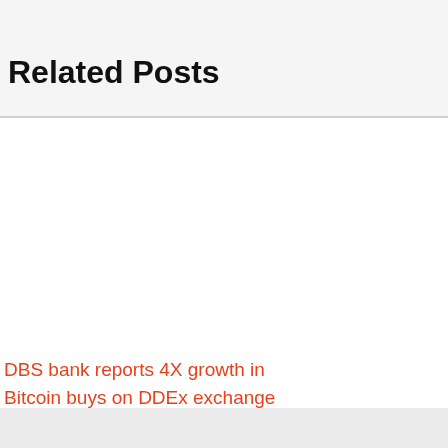Related Posts
[Figure (photo): Image placeholder for related post about DBS bank Bitcoin growth]
DBS bank reports 4X growth in Bitcoin buys on DDEx exchange in...